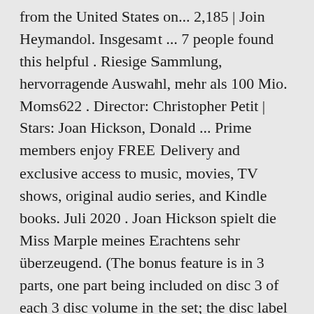from the United States on... 2,185 | Join Heymandol. Insgesamt ... 7 people found this helpful . Riesige Sammlung, hervorragende Auswahl, mehr als 100 Mio. Moms622 . Director: Christopher Petit | Stars: Joan Hickson, Donald ... Prime members enjoy FREE Delivery and exclusive access to music, movies, TV shows, original audio series, and Kindle books. Juli 2020 . Joan Hickson spielt die Miss Marple meines Erachtens sehr überzeugend. (The bonus feature is in 3 parts, one part being included on disc 3 of each 3 disc volume in the set; the disc label for disc 3 of volume 1 didn't list the bonus feature, but the show is in fact on the disc.). Reviewed in the United States on October 12, 2015, Joan Hickson, for my money,